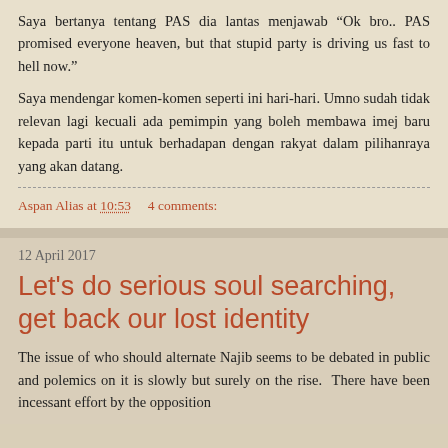Saya bertanya tentang PAS dia lantas menjawab “Ok bro.. PAS promised everyone heaven, but that stupid party is driving us fast to hell now.”
Saya mendengar komen-komen seperti ini hari-hari. Umno sudah tidak relevan lagi kecuali ada pemimpin yang boleh membawa imej baru kepada parti itu untuk berhadapan dengan rakyat dalam pilihanraya yang akan datang.
Aspan Alias at 10:53    4 comments:
12 April 2017
Let's do serious soul searching, get back our lost identity
The issue of who should alternate Najib seems to be debated in public and polemics on it is slowly but surely on the rise.  There have been incessant effort by the opposition